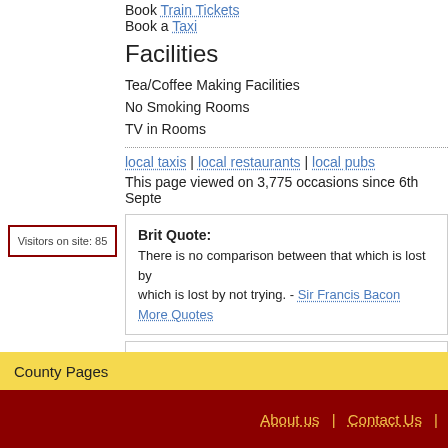Book Train Tickets
Book a Taxi
Facilities
Tea/Coffee Making Facilities
No Smoking Rooms
TV in Rooms
local taxis | local restaurants | local pubs
This page viewed on 3,775 occasions since 6th Septe
Visitors on site: 85
Brit Quote: There is no comparison between that which is lost by which is lost by not trying. - Sir Francis Bacon
More Quotes
On this day: Paradise Lost Published - 1667, First Benny Hill TV S Disaster - 1989
More dates from British history
County Pages
About us | Contact Us |